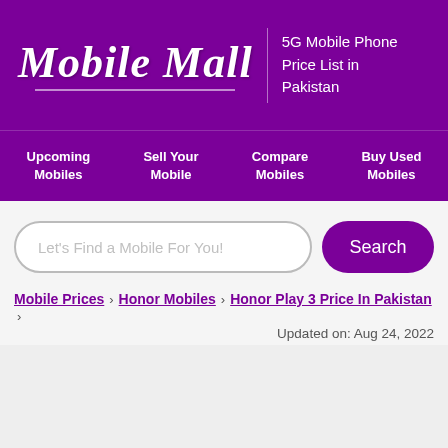Mobile Mall | 5G Mobile Phone Price List in Pakistan
Upcoming Mobiles
Sell Your Mobile
Compare Mobiles
Buy Used Mobiles
Let's Find a Mobile For You!
Mobile Prices > Honor Mobiles > Honor Play 3 Price In Pakistan >
Updated on: Aug 24, 2022